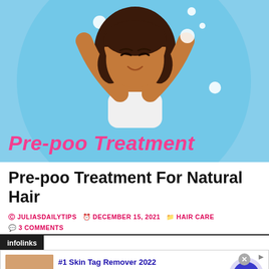[Figure (illustration): Cartoon illustration of a woman washing her hair, shown against a light blue circular background with bubbles. Text overlay reads 'Pre-poo Treatment' in pink italic bold font.]
Pre-poo Treatment For Natural Hair
JULIASDAILYTIPS   DECEMBER 15, 2021   HAIR CARE
3 COMMENTS
[Figure (screenshot): Infolinks advertisement banner. Shows '#1 Skin Tag Remover 2022' ad with image of skin, text 'Leaves No Trace of The Blemish Behind (Not Even Scarring)', URL naturalhealthcures.net, and a blue arrow button.]